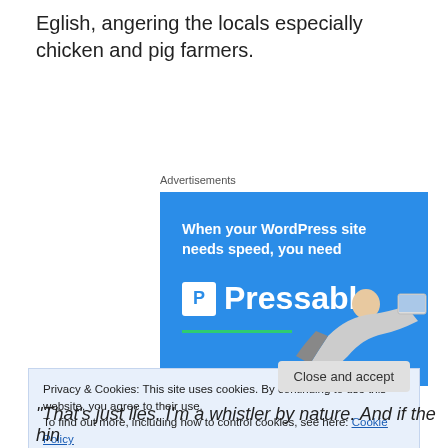Eglish, angering the locals especially chicken and pig farmers.
Advertisements
[Figure (photo): Advertisement banner for Pressable WordPress hosting service. Blue background with bold white text 'When your WordPress site needs speed, you need' followed by the Pressable logo (P icon) and brand name. Green underline accent. Person flying with laptop in bottom right.]
Privacy & Cookies: This site uses cookies. By continuing to use this website, you agree to their use.
To find out more, including how to control cookies, see here: Cookie Policy
Close and accept
“That’s just lies. I’m a whistler by nature. And if the hin